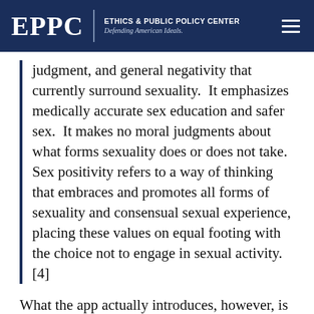EPPC | ETHICS & PUBLIC POLICY CENTER Defending American Ideals.
judgment, and general negativity that currently surround sexuality.  It emphasizes medically accurate sex education and safer sex.  It makes no moral judgments about what forms sexuality does or does not take.  Sex positivity refers to a way of thinking that embraces and promotes all forms of sexuality and consensual sexual experience, placing these values on equal footing with the choice not to engage in sexual activity.[4]
What the app actually introduces, however, is a virtual roulette wheel of sexual behavior, much of which, in any moral society, would be viewed